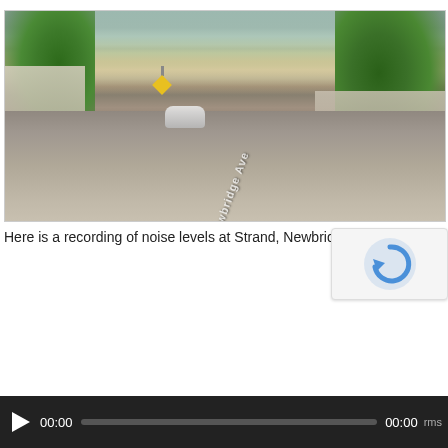[Figure (photo): Street-level photo of Newbridge Avenue, showing a road with trees on both sides, a low stone wall on the right, a white car in the middle distance, and a yellow warning sign on the left. The road name 'Newbridge Ave' is painted on the road surface.]
Here is a recording of noise levels at Strand, Newbridge Ave
[Figure (screenshot): reCAPTCHA widget showing the circular arrow logo]
[Figure (screenshot): Audio player with play button, time display '00:00', progress bar, and end time '00:00', with 'rms' label]